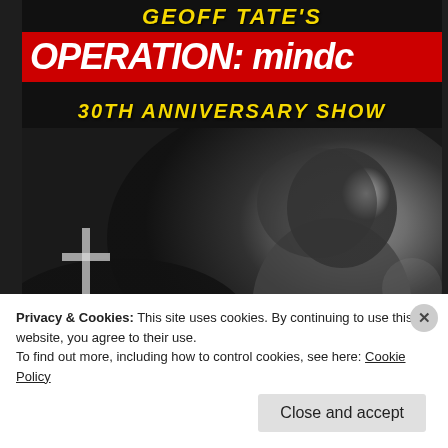[Figure (photo): Promotional image for Geoff Tate's Operation: Mindcrime 30th Anniversary Show. Features yellow italic text 'GEOFF TATE'S' at top, a red banner with white bold italic text 'OPERATION: mindcr...' (cropped), yellow italic text '30TH ANNIVERSARY SHOW', and a black-and-white photo of a bearded man in a leather jacket with a crowd visible at bottom left.]
Tour Dates:
Privacy & Cookies: This site uses cookies. By continuing to use this website, you agree to their use.
To find out more, including how to control cookies, see here: Cookie Policy
Close and accept